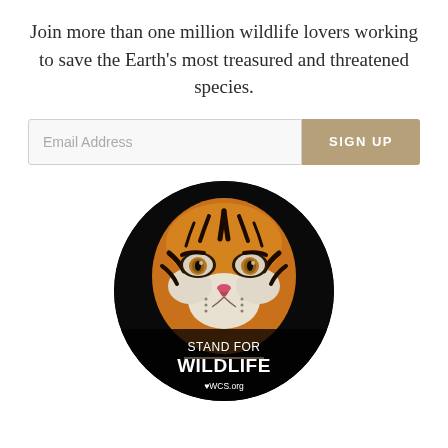Join more than one million wildlife lovers working to save the Earth's most treasured and threatened species.
[Figure (infographic): Email signup form with an input field labeled 'Email Address' and a tan/khaki 'SIGN UP' button]
[Figure (illustration): Circular badge showing a tiger face close-up with text 'STAND FOR WILDLIFE' and 'WCS.org' on a black background]